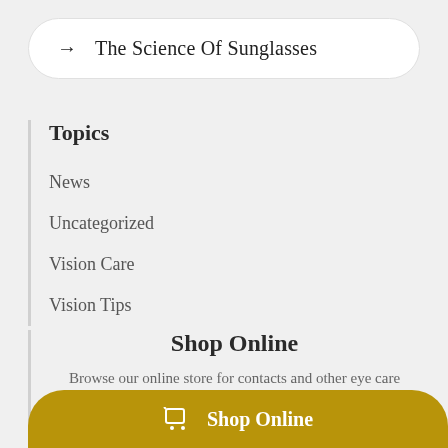→  The Science Of Sunglasses
Topics
News
Uncategorized
Vision Care
Vision Tips
Shop Online
Browse our online store for contacts and other eye care products.
Shop Online